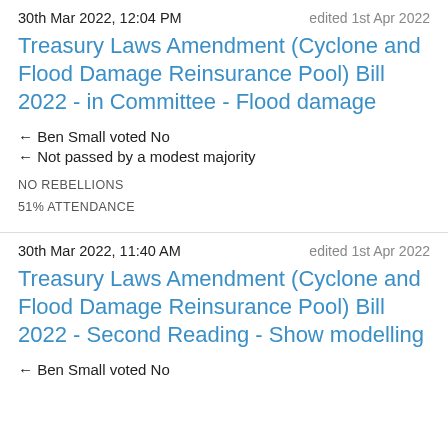30th Mar 2022, 12:04 PM  edited 1st Apr 2022
Treasury Laws Amendment (Cyclone and Flood Damage Reinsurance Pool) Bill 2022 - in Committee - Flood damage
← Ben Small voted No
← Not passed by a modest majority
NO REBELLIONS
51% ATTENDANCE
30th Mar 2022, 11:40 AM  edited 1st Apr 2022
Treasury Laws Amendment (Cyclone and Flood Damage Reinsurance Pool) Bill 2022 - Second Reading - Show modelling
← Ben Small voted No